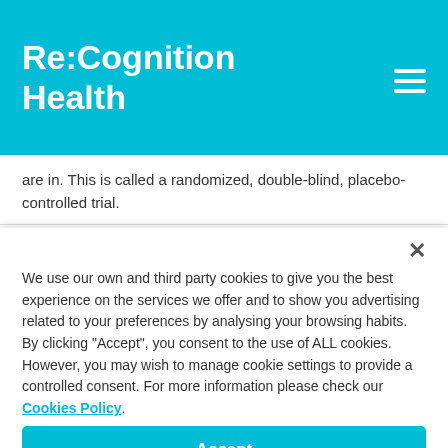Re:Cognition Health
are in. This is called a randomized, double-blind, placebo-controlled trial.
We use our own and third party cookies to give you the best experience on the services we offer and to show you advertising related to your preferences by analysing your browsing habits. By clicking "Accept", you consent to the use of ALL cookies. However, you may wish to manage cookie settings to provide a controlled consent. For more information please check our Cookies Policy.
Accept
Reject All
Manage settings